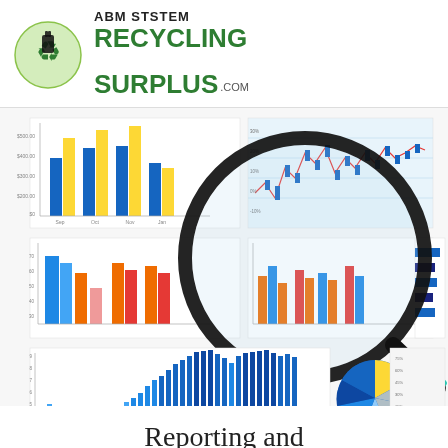[Figure (logo): ABM Ststem Recycling Surplus .com logo with green recycling arrows and plug icon in circle]
[Figure (infographic): Collection of business charts (bar charts, line charts, pie chart) viewed through a magnifying glass, depicting reporting and documentation analytics]
Reporting and Documentation